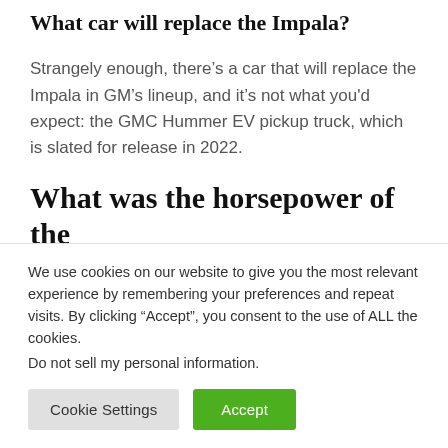What car will replace the Impala?
Strangely enough, there’s a car that will replace the Impala in GM’s lineup, and it’s not what you'd expect: the GMC Hummer EV pickup truck, which is slated for release in 2022.
What was the horsepower of the
We use cookies on our website to give you the most relevant experience by remembering your preferences and repeat visits. By clicking “Accept”, you consent to the use of ALL the cookies.
Do not sell my personal information.